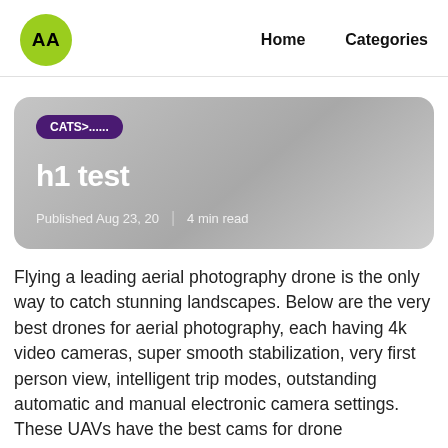AA  Home  Categories
[Figure (other): Hero card with gradient background containing CATS>...... badge, h1 test title, and published date/read time]
CATS>......
h1 test
Published Aug 23, 20  |  4 min read
Flying a leading aerial photography drone is the only way to catch stunning landscapes. Below are the very best drones for aerial photography, each having 4k video cameras, super smooth stabilization, very first person view, intelligent trip modes, outstanding automatic and manual electronic camera settings. These UAVs have the best cams for drone photography and all have an exceptional